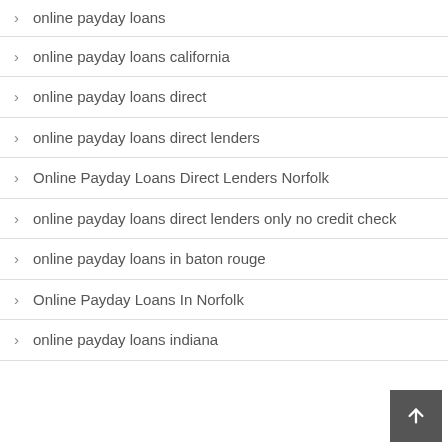online payday loans
online payday loans california
online payday loans direct
online payday loans direct lenders
Online Payday Loans Direct Lenders Norfolk
online payday loans direct lenders only no credit check
online payday loans in baton rouge
Online Payday Loans In Norfolk
online payday loans indiana